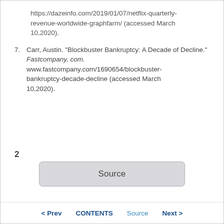https://dazeinfo.com/2019/01/07/netflix-quarterly-revenue-worldwide-graphfarm/ (accessed March 10,2020).
7. Carr, Austin. "Blockbuster Bankruptcy: A Decade of Decline." Fastcompany, com. www.fastcompany.com/1690654/blockbuster-bankruptcy-decade-decline (accessed March 10,2020).
2
[Figure (other): A button labeled 'Source']
< Prev   CONTENTS   Source   Next >